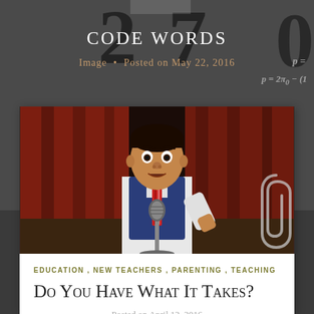Code Words
Image • Posted on May 22, 2016
[Figure (photo): Young boy in school uniform (blue vest, white shirt, striped red tie) standing at a microphone with a surprised expression, in front of red curtains. Spelling bee or public speaking event.]
EDUCATION , NEW TEACHERS , PARENTING , TEACHING
Do You Have What It Takes?
Posted on April 12, 2016